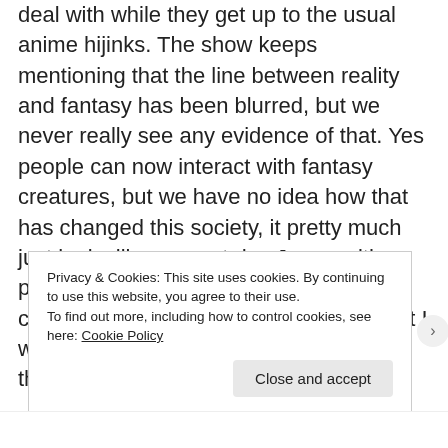deal with while they get up to the usual anime hijinks. The show keeps mentioning that the line between reality and fantasy has been blurred, but we never really see any evidence of that. Yes people can now interact with fantasy creatures, but we have no idea how that has changed this society, it pretty much just looks like present day Japan with powered teenagers fighting magical creatures (and this may be evidence that I watch too much anime, but I assumed that's what Japan is like
Privacy & Cookies: This site uses cookies. By continuing to use this website, you agree to their use.
To find out more, including how to control cookies, see here: Cookie Policy
Close and accept